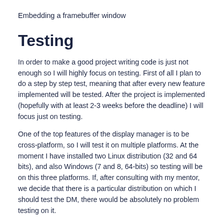Embedding a framebuffer window
Testing
In order to make a good project writing code is just not enough so I will highly focus on testing. First of all I plan to do a step by step test, meaning that after every new feature implemented will be tested. After the project is implemented (hopefully with at least 2-3 weeks before the deadline) I will focus just on testing.
One of the top features of the display manager is to be cross-platform, so I will test it on multiple platforms. At the moment I have installed two Linux distribution (32 and 64 bits), and also Windows (7 and 8, 64-bits) so testing will be on this three platforms. If, after consulting with my mentor, we decide that there is a particular distribution on which I should test the DM, there would be absolutely no problem testing on it.
Testing will consist mostly in creating and loading